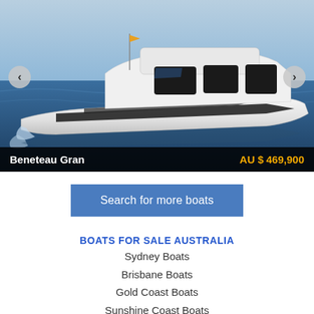[Figure (photo): White luxury motorboat (Beneteau Gran) gliding on blue ocean water, side profile view. Navigation arrows on left and right sides of image.]
Beneteau Gran  AU $469,900
Search for more boats
BOATS FOR SALE AUSTRALIA
Sydney Boats
Brisbane Boats
Gold Coast Boats
Sunshine Coast Boats
Melbourne Boats
Boats Perth